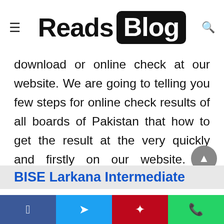Reads Blog
download or online check at our website. We are going to telling you few steps for online check results of all boards of Pakistan that how to get the result at the very quickly and firstly on our website. All boards of intermediate and secondary education of Pakistan full mark sheet download from our website. After publishing Inter supply exams now students are waiting their results and struggling for download mark sheet. We will present you here the mark sheet direct download link without any fake links and any disturbance.
BISE Larkana Intermediate
Facebook Twitter Pinterest WhatsApp